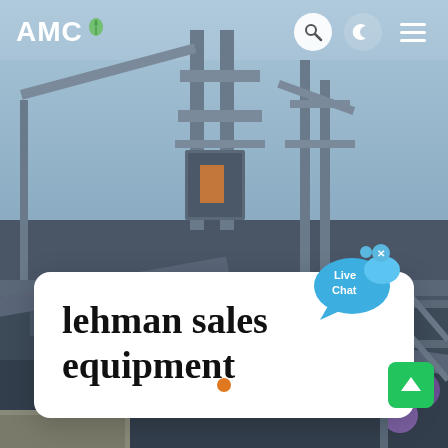[Figure (photo): Industrial mining/construction equipment with metal framework, conveyor structures, and machinery photographed against a light blue sky. Background for a website search page.]
AMC
lehman sales equipment
[Figure (other): Live Chat speech bubble button in blue with white text reading 'Live Chat', with a small blue notification dot and X close button in upper right.]